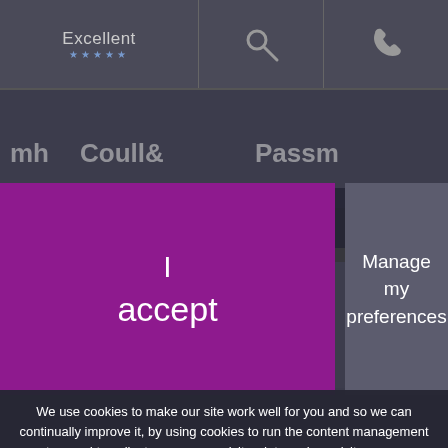Excellent ★★★★★ [search icon] [phone icon]
[Figure (screenshot): Dimmed background showing a law firm website with partial logos reading 'mh Coull& Passm', 'cel' logo box, 'Law Society' text, 'THE SOCIETY OF' banner, and address details: Heathcyate House, 2-4 Vale Avenue, Tunbridge Wells, Kent, TN1 1DJ]
I
accept
Manage my preferences
We use cookies to make our site work well for you and so we can continually improve it, by using cookies to run the content management system and to collect anonymous visitor data on how visitors use our platform (including Google Analytics). We are making users more aware of these cookies and providing links to help visitors decline or remove cookies. You can read more by clicking on this link to our cookie policy web page.